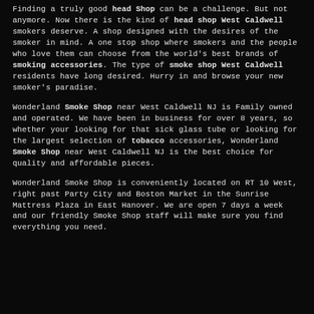Finding a truly good head shop can be a challenge. But not anymore. Now there is the kind of head shop West Caldwell smokers deserve. A shop designed with the desires of the smoker in mind. A one stop shop where smokers and the people who love them can choose from the world's best brands of smoking accessories. The type of smoke shop West Caldwell residents have long desired. Hurry in and browse your new smoker's paradise.
Wonderland Smoke Shop near West Caldwell NJ is Family owned and operated. We have been in business for over 8 years, so whether your looking for that sick glass tube or looking for the largest selection of tobacco accessories, Wonderland Smoke Shop near West Caldwell NJ is the best choice for quality and affordable pieces.
Wonderland Smoke Shop is conveniently located on RT 10 West, right past Party City and Boston Market in the Sunrise Mattress Plaza in East Hanover. We are open 7 days a week and our friendly Smoke Shop staff will make sure you find everything you need.